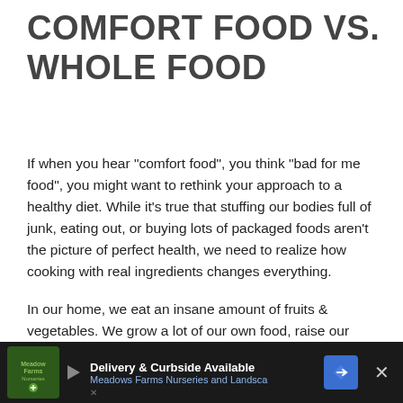COMFORT FOOD VS. WHOLE FOOD
If when you hear “comfort food”, you think “bad for me food”, you might want to rethink your approach to a healthy diet. While it’s true that stuffing our bodies full of junk, eating out, or buying lots of packaged foods aren’t the picture of perfect health, we need to realize how cooking with real ingredients changes everything.
In our home, we eat an insane amount of fruits & vegetables. We grow a lot of our own food, raise our animals organically, and really try our best to rarely go out-to-eat. We even take healthy snacks with us wh...
[Figure (infographic): Advertisement banner at bottom: dark background with Meadows Farms Nurseries and Landscape logo, play button, text 'Delivery & Curbside Available', blue direction sign badge, and X close button]